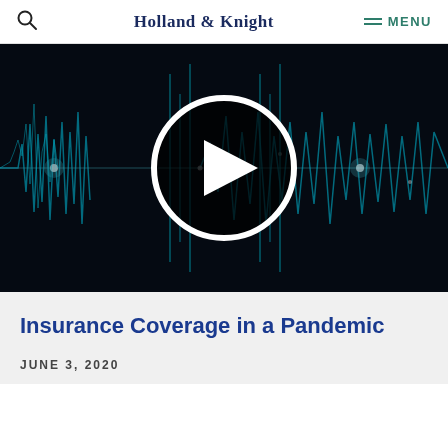Holland & Knight
[Figure (screenshot): Video thumbnail with dark background showing audio waveform visualization in teal/cyan colors, with a large white circular play button in the center containing a white triangle play icon.]
Insurance Coverage in a Pandemic
JUNE 3, 2020